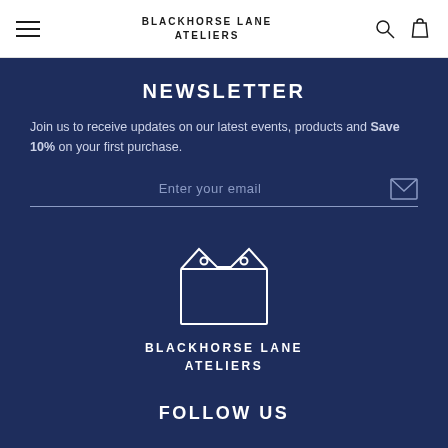BLACKHORSE LANE ATELIERS
NEWSLETTER
Join us to receive updates on our latest events, products and Save 10% on your first purchase.
Enter your email
[Figure (logo): Blackhorse Lane Ateliers factory/tag logo icon in white outline on dark blue background]
BLACKHORSE LANE ATELIERS
FOLLOW US